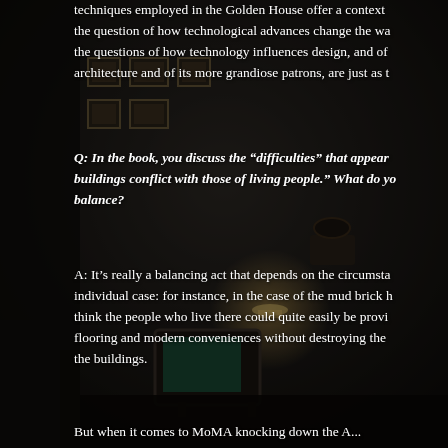techniques employed in the Golden House offer a context for the question of how technological advances change the wa... the questions of how technology influences design, and of architecture and of its more grandiose patrons, are just as t...
Q: In the book, you discuss the "difficulties" that appear buildings conflict with those of living people." What do yo... balance?
A: It's really a balancing act that depends on the circumsta... individual case: for instance, in the case of the mud brick h... think the people who live there could quite easily be provi... flooring and modern conveniences without destroying the ... the buildings.
But when it comes to MoMA knocking down the A...
[Figure (photo): Dark, moody interior room photograph showing framed pictures on a dark wall, an old television set, a lamp, and vintage furnishings with a worn, aged aesthetic.]